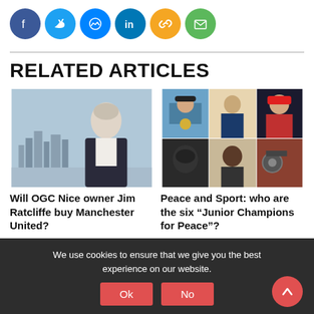[Figure (other): Row of social media share icons: Facebook, Twitter, Messenger, LinkedIn, Link, Email]
RELATED ARTICLES
[Figure (photo): Man in dark blazer standing with city skyline in background]
Will OGC Nice owner Jim Ratcliffe buy Manchester United?
[Figure (photo): Collage of six young athletes for Peace and Sport Junior Champions for Peace]
Peace and Sport: who are the six “Junior Champions for Peace”?
We use cookies to ensure that we give you the best experience on our website.